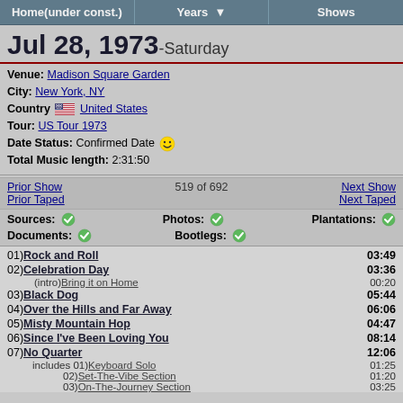Home(under const.) | Years | Shows
Jul 28, 1973-Saturday
Venue: Madison Square Garden
City: New York, NY
Country: United States
Tour: US Tour 1973
Date Status: Confirmed Date
Total Music length: 2:31:50
Prior Show | 519 of 692 | Next Show
Prior Taped | | Next Taped
Sources: ✓   Photos: ✓   Plantations: ✓
Documents: ✓   Bootlegs: ✓
01) Rock and Roll   03:49
02) Celebration Day   03:36
(intro) Bring it on Home   00:20
03) Black Dog   05:44
04) Over the Hills and Far Away   06:06
05) Misty Mountain Hop   04:47
06) Since I've Been Loving You   08:14
07) No Quarter   12:06
includes 01) Keyboard Solo   01:25
02) Set-The-Vibe Section   01:20
03) On-The-Journey Section   03:25